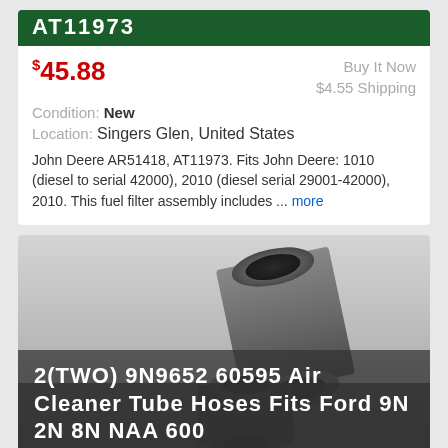AT11973
$45.88   Buy It Now  $4.55 Shipping  Condition: New  Location: Singers Glen, United States
John Deere AR51418, AT11973. Fits John Deere: 1010 (diesel to serial 42000), 2010 (diesel serial 29001-42000), 2010. This fuel filter assembly includes ... more
[Figure (photo): Two black rubber cylindrical tube hoses / bushings shown from different angles]
2(TWO) 9N9652 60595 Air Cleaner Tube Hoses Fits Ford 9N 2N 8N NAA 600